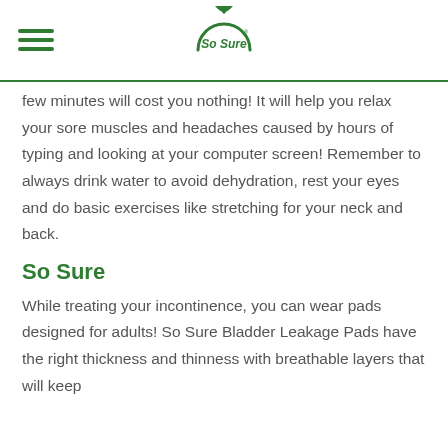So Sure (logo)
few minutes will cost you nothing! It will help you relax your sore muscles and headaches caused by hours of typing and looking at your computer screen! Remember to always drink water to avoid dehydration, rest your eyes and do basic exercises like stretching for your neck and back.
So Sure
While treating your incontinence, you can wear pads designed for adults! So Sure Bladder Leakage Pads have the right thickness and thinness with breathable layers that will keep